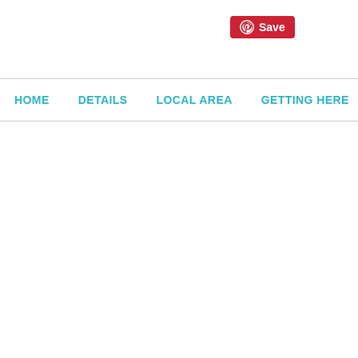[Figure (screenshot): Pinterest Save button with red background, Pinterest logo icon, and 'Save' text in white]
HOME   DETAILS   LOCAL AREA   GETTING HERE   P